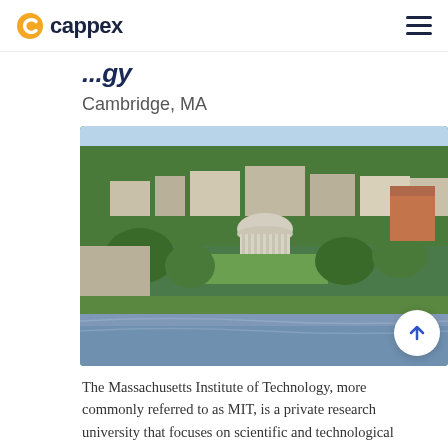cappex
...gy
Cambridge, MA
[Figure (photo): Aerial photograph of the MIT campus in Cambridge, MA, showing the iconic domed building, green lawns, academic buildings, and the Charles River in the foreground with the surrounding urban neighborhood and tree canopy.]
The Massachusetts Institute of Technology, more commonly referred to as MIT, is a private research university that focuses on scientific and technological research. Located on 166 acres of land in Cambridge, MA, MIT maintains five schools, hosting 30...